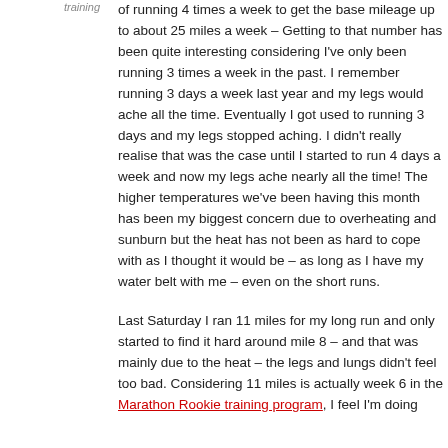of running 4 times a week to get the base mileage up to about 25 miles a week – Getting to that number has been quite interesting considering I've only been running 3 times a week in the past. I remember running 3 days a week last year and my legs would ache all the time. Eventually I got used to running 3 days and my legs stopped aching. I didn't really realise that was the case until I started to run 4 days a week and now my legs ache nearly all the time! The higher temperatures we've been having this month has been my biggest concern due to overheating and sunburn but the heat has not been as hard to cope with as I thought it would be – as long as I have my water belt with me – even on the short runs.
Last Saturday I ran 11 miles for my long run and only started to find it hard around mile 8 – and that was mainly due to the heat – the legs and lungs didn't feel too bad. Considering 11 miles is actually week 6 in the Marathon Rookie training program, I feel I'm doing
training